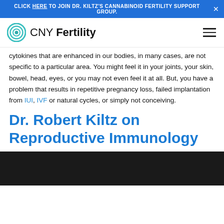CLICK HERE TO JOIN DR. KILTZ'S CANNABINOID FERTILITY SUPPORT GROUP.
[Figure (logo): CNY Fertility logo with teal circular icon and text 'CNY Fertility']
cytokines that are enhanced in our bodies, in many cases, are not specific to a particular area. You might feel it in your joints, your skin, bowel, head, eyes, or you may not even feel it at all. But, you have a problem that results in repetitive pregnancy loss, failed implantation from IUI, IVF or natural cycles, or simply not conceiving.
Dr. Robert Kiltz on Reproductive Immunology
[Figure (screenshot): Dark video thumbnail at bottom of page]